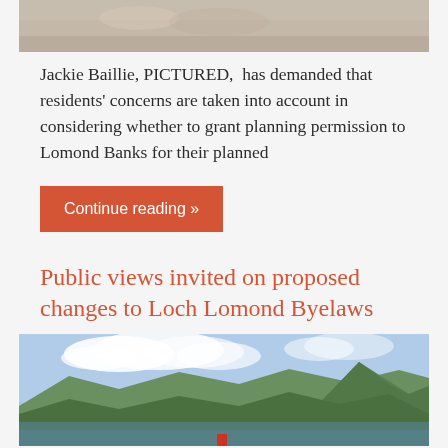[Figure (photo): Top portion of a photo showing people, partially cropped]
Jackie Baillie, PICTURED,  has demanded that residents' concerns are taken into account in considering whether to grant planning permission to Lomond Banks for their planned
Continue reading »
Public views invited on proposed changes to Loch Lomond Byelaws
[Figure (photo): Scenic photo of Loch Lomond with mountains in background and cloudy blue sky]